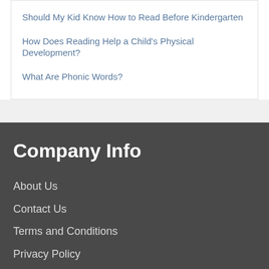Should My Kid Know How to Read Before Kindergarten
How Does Reading Help a Child's Physical Development?
What Are Phonic Words?
Company Info
About Us
Contact Us
Terms and Conditions
Privacy Policy